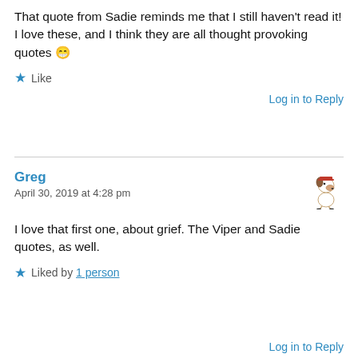That quote from Sadie reminds me that I still haven't read it! I love these, and I think they are all thought provoking quotes 😁
★ Like
Log in to Reply
Greg
April 30, 2019 at 4:28 pm
I love that first one, about grief. The Viper and Sadie quotes, as well.
★ Liked by 1 person
Log in to Reply